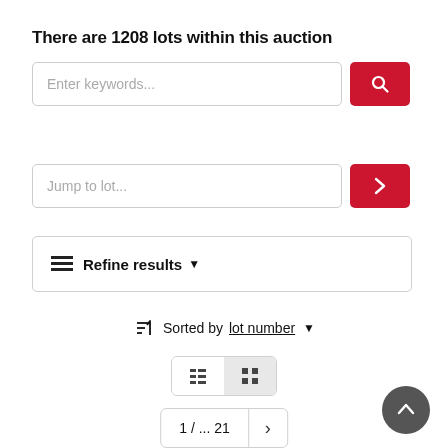There are 1208 lots within this auction
Enter keywords...
Jump to lot...
Refine results
Sorted by lot number
1 / ... 21